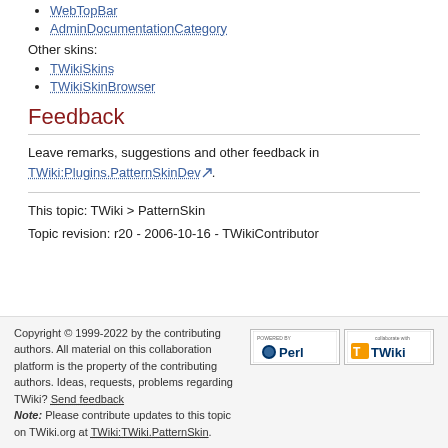WebTopBar
AdminDocumentationCategory
Other skins:
TWikiSkins
TWikiSkinBrowser
Feedback
Leave remarks, suggestions and other feedback in TWiki:Plugins.PatternSkinDev.
This topic: TWiki > PatternSkin
Topic revision: r20 - 2006-10-16 - TWikiContributor
Copyright © 1999-2022 by the contributing authors. All material on this collaboration platform is the property of the contributing authors. Ideas, requests, problems regarding TWiki? Send feedback Note: Please contribute updates to this topic on TWiki.org at TWiki:TWiki.PatternSkin.